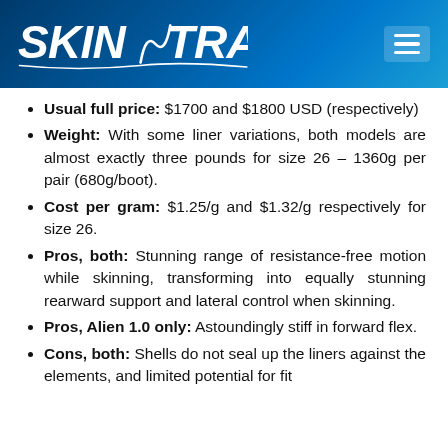SKINTRACK
Usual full price: $1700 and $1800 USD (respectively)
Weight: With some liner variations, both models are almost exactly three pounds for size 26 – 1360g per pair (680g/boot).
Cost per gram: $1.25/g and $1.32/g respectively for size 26.
Pros, both: Stunning range of resistance-free motion while skinning, transforming into equally stunning rearward support and lateral control when skinning.
Pros, Alien 1.0 only: Astoundingly stiff in forward flex.
Cons, both: Shells do not seal up the liners against the elements, and limited potential for fit